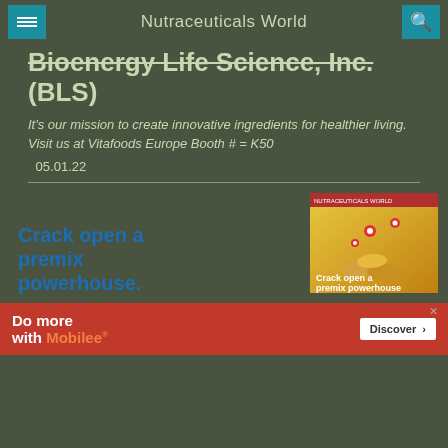Nutraceuticals World
Bioenergy Life Science, Inc. (BLS)
It's our mission to create innovative ingredients for healthier living. Visit us at Vitafoods Europe Booth # = K50
05.01.22
[Figure (infographic): Advertisement: Crack open a premix powerhouse - shows golden/yellow premix capsules with location pins on a warm gradient background]
[Figure (infographic): Advertisement banner: Do more with Mobilee - red background with Discover button]